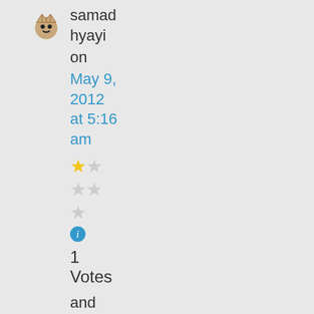[Figure (illustration): User avatar icon showing a small crown/crab emoji style image]
samad hyayi on May 9, 2012 at 5:16 am
[Figure (illustration): Star rating: 1 filled star, 4 empty stars arranged in a 2x2 plus one row with info icon below]
1 Votes
and where have i talked about